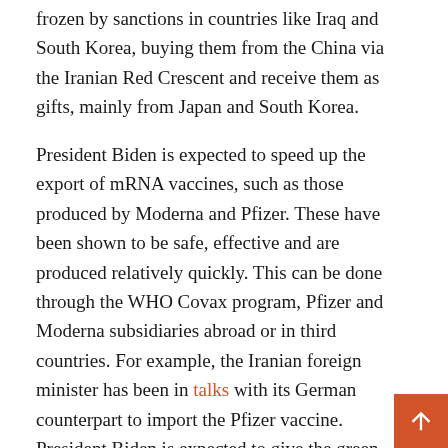frozen by sanctions in countries like Iraq and South Korea, buying them from the China via the Iranian Red Crescent and receive them as gifts, mainly from Japan and South Korea.
President Biden is expected to speed up the export of mRNA vaccines, such as those produced by Moderna and Pfizer. These have been shown to be safe, effective and are produced relatively quickly. This can be done through the WHO Covax program, Pfizer and Moderna subsidiaries abroad or in third countries. For example, the Iranian foreign minister has been in talks with its German counterpart to import the Pfizer vaccine. President Biden is expected to give the green light to third countries carrying out these transactions and ensure that Moderna and Pfizer subsidiaries in Europe have enough vaccines to meet Iran's orders. The United States can also unfreeze some of Iranian assets abroad to use them exclusively for the purchase of medical products. These transactions can be routed through the US-Treasury Department designed Swiss financial channel with Iran, which has strengthened due